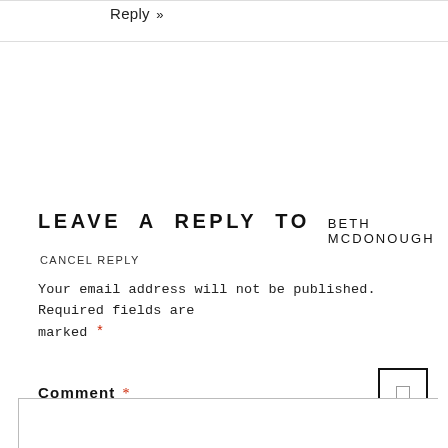Reply »
LEAVE A REPLY TO   BETH MCDONOUGH
CANCEL REPLY
Your email address will not be published. Required fields are marked *
Comment *